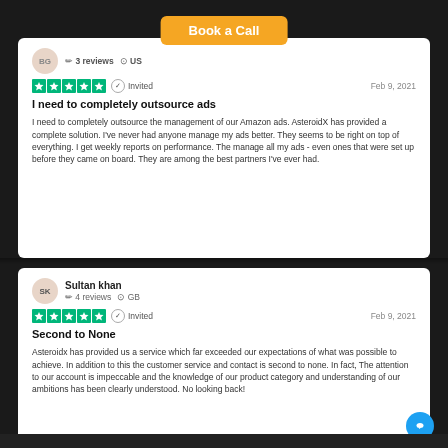[Figure (other): Orange 'Book a Call' button at top center]
BG • 3 reviews • US
★★★★★ Invited  Feb 9, 2021
I need to completely outsource ads
I need to completely outsource the management of our Amazon ads. AsteroidX has provided a complete solution. I've never had anyone manage my ads better. They seems to be right on top of everything. I get weekly reports on performance. The manage all my ads - even ones that were set up before they came on board. They are among the best partners I've ever had.
Sultan khan • 4 reviews • GB
★★★★★ Invited  Feb 9, 2021
Second to None
Asteroidx has provided us a service which far exceeded our expectations of what was possible to achieve. In addition to this the customer service and contact is second to none. In fact, The attention to our account is impeccable and the knowledge of our product category and understanding of our ambitions has been clearly understood. No looking back!